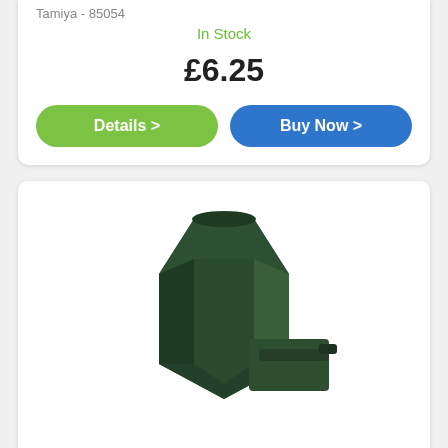Tamiya - 85054
In Stock
£6.25
Details >
Buy Now >
[Figure (photo): A dark green Tamiya TS-9 British Green spray paint can, angled view showing the hexagonal top and nozzle]
Tamiya TS-9 British Green Spray 100ml
Tamiya - 85009